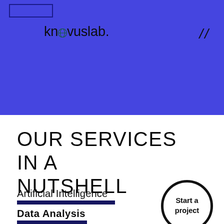knovuslab.
OUR SERVICES IN A NUTSHELL
Artificial Intelligence
Data Analysis
Start a project